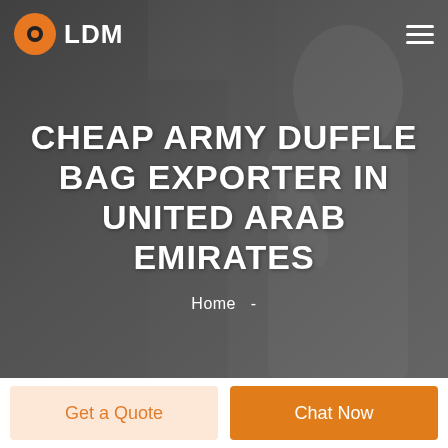LDM
CHEAP ARMY DUFFLE BAG EXPORTER IN UNITED ARAB EMIRATES
Home  -
[Figure (screenshot): Navigation bar with LDM logo (orange circular icon) on left and hamburger menu icon on right, overlaid on a dark grayscale photo of a man resting his chin on his hand]
Get a Quote
Chat Now